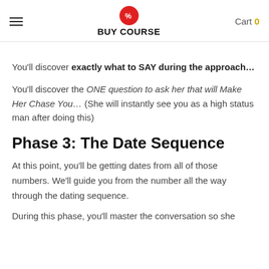BUY COURSE | Cart 0
You'll discover exactly what to SAY during the approach…
You'll discover the ONE question to ask her that will Make Her Chase You… (She will instantly see you as a high status man after doing this)
Phase 3: The Date Sequence
At this point, you'll be getting dates from all of those numbers. We'll guide you from the number all the way through the dating sequence.
During this phase, you'll master the conversation so she